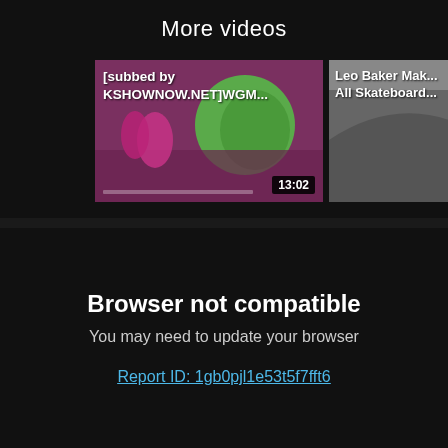More videos
[Figure (screenshot): Two video thumbnails side by side. Left thumbnail shows a Korean variety show titled '[subbed by KSHOWNOW.NET]WGM...' with a duration badge '13:02'. Right thumbnail shows 'Leo Baker Mak... All Skateboard...' video partially visible.]
Browser not compatible
You may need to update your browser
Report ID: 1gb0pjl1e53t5f7fft6